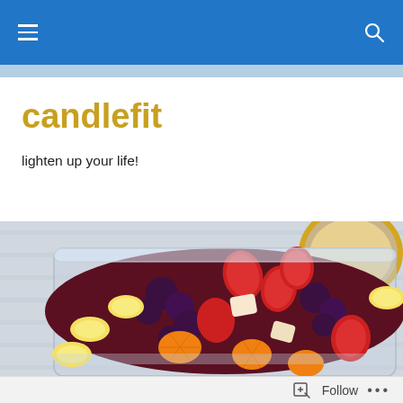candlefit – lighten up your life! – navigation bar
candlefit
lighten up your life!
[Figure (photo): A plastic container filled with a colorful mixed fruit salad including strawberries, banana slices, mandarin orange segments, grapes, and apple pieces. A yellow mug with a light-colored beverage is visible in the upper right corner. The background is a white/grey striped cloth.]
Follow  •••